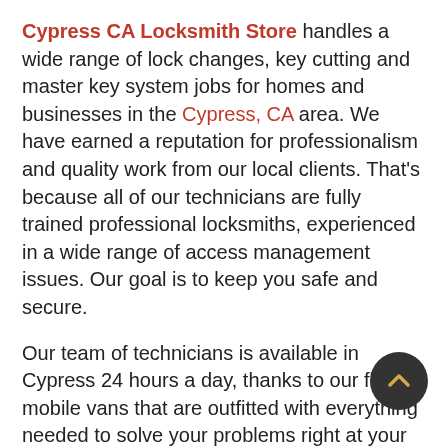Cypress CA Locksmith Store handles a wide range of lock changes, key cutting and master key system jobs for homes and businesses in the Cypress, CA area. We have earned a reputation for professionalism and quality work from our local clients. That's because all of our technicians are fully trained professional locksmiths, experienced in a wide range of access management issues. Our goal is to keep you safe and secure.
Our team of technicians is available in Cypress 24 hours a day, thanks to our fleet of mobile vans that are outfitted with everything needed to solve your problems right at your location. We handle a variety of locksmith services as you wait, including lock rekeys, key cutting, door reinforcement, lock repair, access restoration and more. All the tools, materials and equipment required to get the job done quickly and professionally are available in our mobile units, so most issues are done within minutes onsite, while you wait.